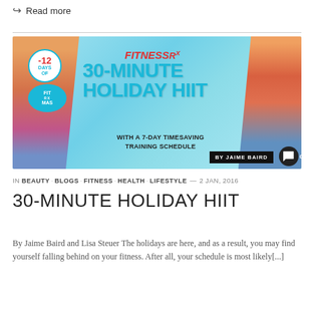Read more
[Figure (photo): FitnessRx 30-Minute Holiday HIIT promotional banner featuring two female fitness models, with text '30-MINUTE HOLIDAY HIIT WITH A 7-DAY TIMESAVING TRAINING SCHEDULE by Jaime Baird', badge showing -12 Days of FitRx Mas, comment icon with 0]
IN BEAUTY · BLOGS · FITNESS · HEALTH · LIFESTYLE — 2 JAN, 2016
30-MINUTE HOLIDAY HIIT
By Jaime Baird and Lisa Steuer The holidays are here, and as a result, you may find yourself falling behind on your fitness. After all, your schedule is most likely[...]